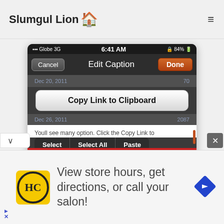Slumgul Lion [house icon]
[Figure (screenshot): iOS mobile screenshot showing 'Edit Caption' screen with a 'Copy Link to Clipboard' button, a text area with partial text 'Youll see many option. Click the Copy Link to...going anywere on message compose screen and click paste', a Select/Select All/Paste popup menu, character count of 20, and a mic icon. Status bar shows Globe 3G, 6:41 AM, 84% battery.]
[Figure (screenshot): Ad banner at bottom: HC logo on yellow background, text 'View store hours, get directions, or call your salon!' with a blue diamond arrow navigation icon on the right.]